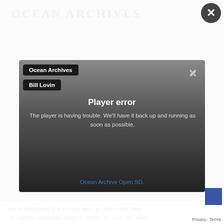[Figure (screenshot): Screenshot of a website with a modal overlay showing a video player error. The page appears to be Ocean Archives website. A white semi-transparent overlay covers the page. A video player card shows gradient background from gray to dark, with labels 'Ocean Archives' and 'Bill Lovin', and displays a 'Player error' message: 'The player is having trouble. We’ll have it back up and running as soon as possible.' A close X button appears inside the player. A large circle X close button appears top-right of the overlay. Below the player is a link 'Ocean Archive Open SD.' At the bottom, partially visible body text reads about underwater world. A privacy/terms note and reCAPTCHA widget appear bottom right.]